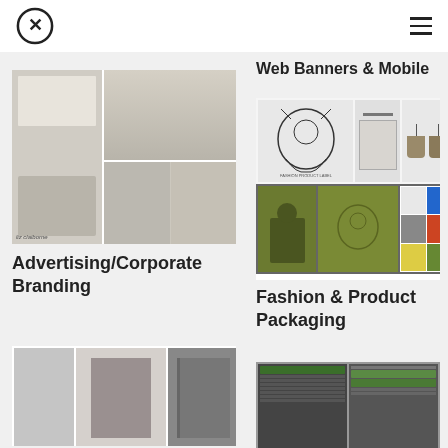Cx logo and navigation menu
Web Banners & Mobile
[Figure (photo): Liz Claiborne advertising collage showing lifestyle photography of people in home settings]
Advertising/Corporate Branding
[Figure (photo): Fashion and product packaging design work including graphic illustrations of elephants and decorative elements in black/white and olive green]
Fashion & Product Packaging
[Figure (photo): Print design samples including brochures and booklets]
[Figure (screenshot): Web/screen interface screenshots showing spreadsheet-like layouts]